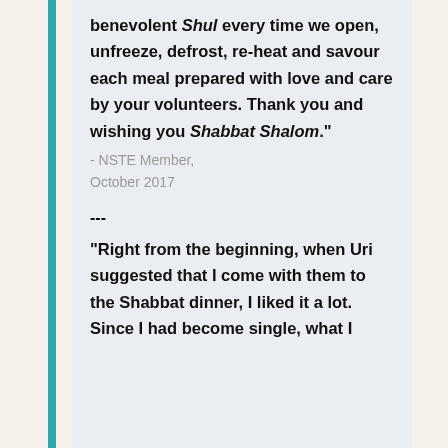benevolent Shul every time we open, unfreeze, defrost, re-heat and savour each meal prepared with love and care by your volunteers. Thank you and wishing you Shabbat Shalom."
- NSTE Member, October 2017
---
"Right from the beginning, when Uri suggested that I come with them to the Shabbat dinner, I liked it a lot. Since I had become single, what I